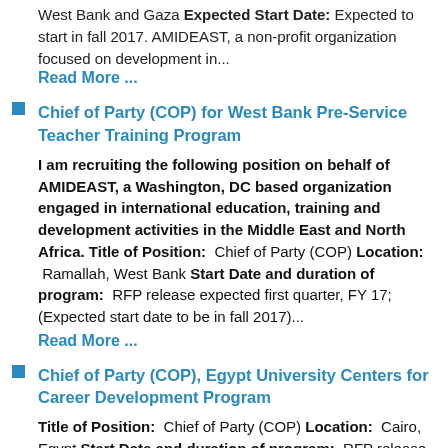West Bank and Gaza Expected Start Date: Expected to start in fall 2017. AMIDEAST, a non-profit organization focused on development in...
Read More ...
Chief of Party (COP) for West Bank Pre-Service Teacher Training Program
I am recruiting the following position on behalf of AMIDEAST, a Washington, DC based organization engaged in international education, training and development activities in the Middle East and North Africa. Title of Position: Chief of Party (COP) Location: Ramallah, West Bank Start Date and duration of program: RFP release expected first quarter, FY 17; (Expected start date to be in fall 2017)...
Read More ...
Chief of Party (COP), Egypt University Centers for Career Development Program
Title of Position: Chief of Party (COP) Location: Cairo, Egypt Start Date and duration of program: RFP release expected first quarter, FY 2017; Expected start date to be in late summer 2017 Program: The USAID/Egypt